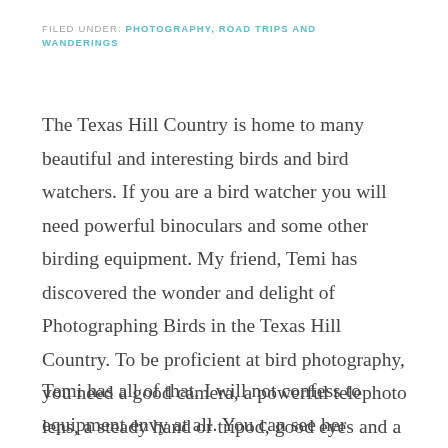FILED UNDER: PHOTOGRAPHY, ROAD TRIPS AND WANDERINGS
The Texas Hill Country is home to many beautiful and interesting birds and bird watchers. If you are a bird watcher you will need powerful binoculars and some other birding equipment. My friend, Temi has discovered the wonder and delight of Photographing Birds in the Texas Hill Country. To be proficient at bird photography, you need a good camera, a powerful telephoto lens, a steady hand or tripod, good eyes and a lot of patience.
Temi has all of that. I will not confess to equipment envy at all. You can see her telephoto lens poking